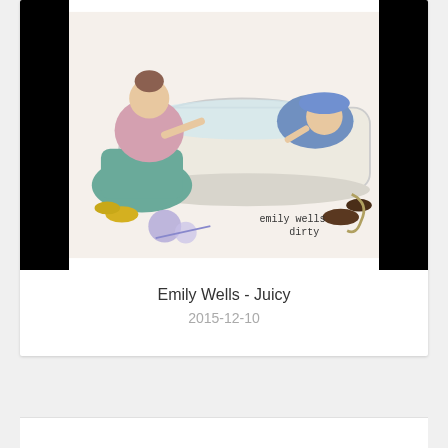[Figure (illustration): Illustration of figures bathing in a tub, watercolor style. Text 'emily wells dirty' in bottom right corner. Image displayed on black background card.]
Emily Wells - Juicy
2015-12-10
КОММЕНТАРИИ (0)